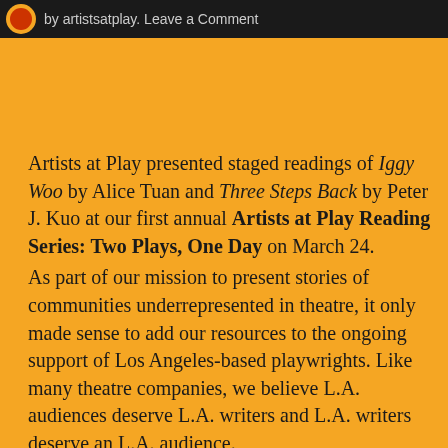by artistsatplay. Leave a Comment
Artists at Play presented staged readings of Iggy Woo by Alice Tuan and Three Steps Back by Peter J. Kuo at our first annual Artists at Play Reading Series: Two Plays, One Day on March 24. As part of our mission to present stories of communities underrepresented in theatre, it only made sense to add our resources to the ongoing support of Los Angeles-based playwrights. Like many theatre companies, we believe L.A. audiences deserve L.A. writers and L.A. writers deserve an L.A. audience.